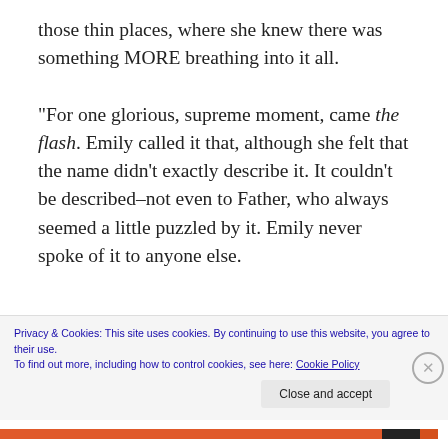those thin places, where she knew there was something MORE breathing into it all.
“For one glorious, supreme moment, came the flash. Emily called it that, although she felt that the name didn’t exactly describe it. It couldn’t be described–not even to Father, who always seemed a little puzzled by it. Emily never spoke of it to anyone else.
Privacy & Cookies: This site uses cookies. By continuing to use this website, you agree to their use.
To find out more, including how to control cookies, see here: Cookie Policy